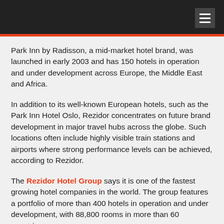Park Inn by Radisson, a mid-market hotel brand, was launched in early 2003 and has 150 hotels in operation and under development across Europe, the Middle East and Africa.
In addition to its well-known European hotels, such as the Park Inn Hotel Oslo, Rezidor concentrates on future brand development in major travel hubs across the globe. Such locations often include highly visible train stations and airports where strong performance levels can be achieved, according to Rezidor.
The Rezidor Hotel Group says it is one of the fastest growing hotel companies in the world. The group features a portfolio of more than 400 hotels in operation and under development, with 88,800 rooms in more than 60 countries.
Brussels-headquartered Rezidor operates the brands Radisson Blu Hotels & Resorts and Park Inn by Radisson in Europe, Middle East and Africa, along with the Club Carlson Loyalty program for